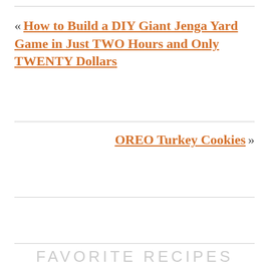« How to Build a DIY Giant Jenga Yard Game in Just TWO Hours and Only TWENTY Dollars
OREO Turkey Cookies »
FAVORITE RECIPES